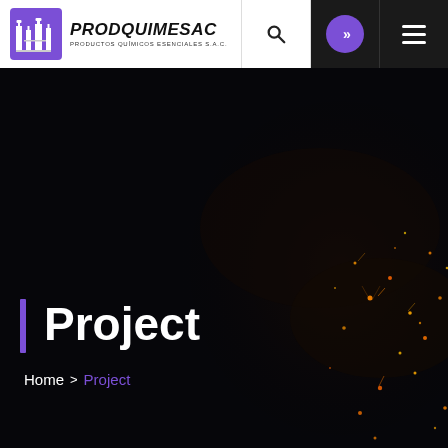PRODQUIMESAC - PRODUCTOS QUÍMICOS ESENCIALES S.A.C.
[Figure (illustration): Dark hero background with glowing sparks/embers scattered across right side, industrial night scene]
Project
Home > Project